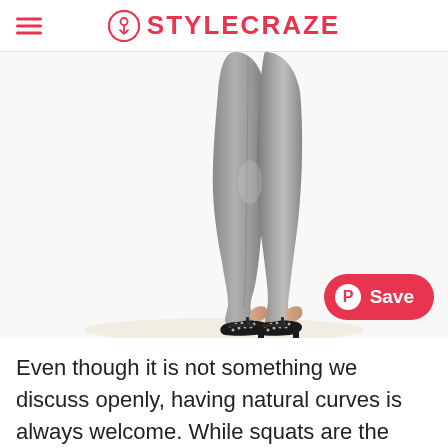STYLECRAZE
[Figure (photo): Lower body of a woman wearing grey skinny jeans and black studded high heels, white background, with a Pinterest Save button overlay]
Even though it is not something we discuss openly, having natural curves is always welcome. While squats are the best exercise on the list to tone your butts, some skincare products can tighten the skin